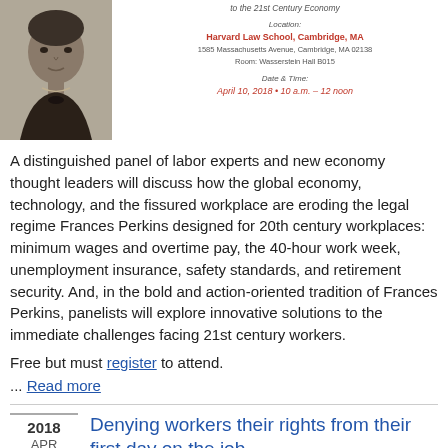[Figure (photo): Black and white portrait photo of Frances Perkins, a woman wearing a dark dress with a bow or brooch at the neckline]
to the 21st Century Economy

Location:
Harvard Law School, Cambridge, MA
1585 Massachusetts Avenue, Cambridge, MA 02138
Room: Wasserstein Hall B015

Date & Time:
April 10, 2018 • 10 a.m. – 12 noon
A distinguished panel of labor experts and new economy thought leaders will discuss how the global economy, technology, and the fissured workplace are eroding the legal regime Frances Perkins designed for 20th century workplaces: minimum wages and overtime pay, the 40-hour work week, unemployment insurance, safety standards, and retirement security. And, in the bold and action-oriented tradition of Frances Perkins, panelists will explore innovative solutions to the immediate challenges facing 21st century workers.
Free but must register to attend.
... Read more
Denying workers their rights from their first day on the job